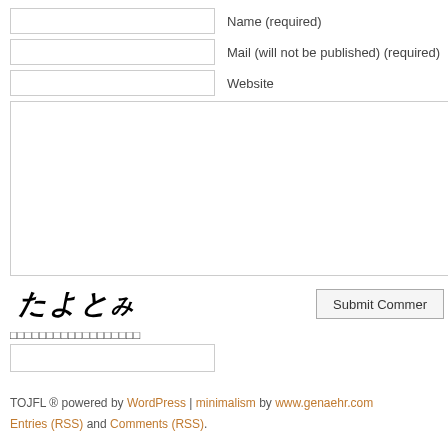Name (required)
Mail (will not be published) (required)
Website
[Figure (other): Comment text area input box]
[Figure (illustration): CAPTCHA image with Japanese characters: たよと (handwritten style)]
Submit Comment button
CAPTCHA label with Japanese characters (garbled squares)
CAPTCHA input field
TOJFL ® powered by WordPress | minimalism by www.genaehr.com Entries (RSS) and Comments (RSS).